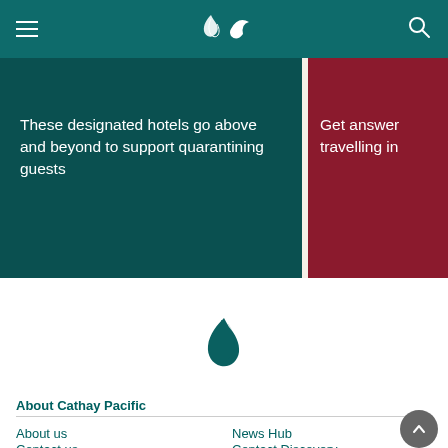[Figure (logo): Cathay Pacific navigation bar with hamburger menu, bird logo, and search icon on teal background]
These designated hotels go above and beyond to support quarantining guests
Get answer travelling in
[Figure (logo): Cathay Pacific bird/brushstroke logo in teal color]
About Cathay Pacific
About us
News Hub
Contact us
Contact Discovery